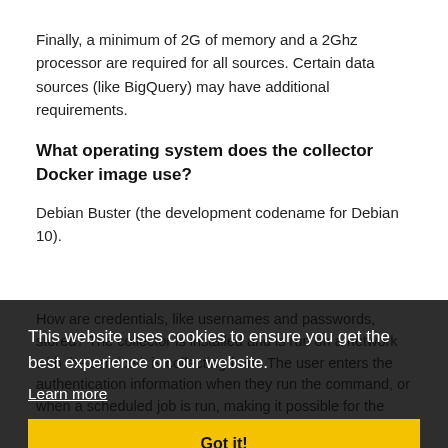Finally, a minimum of 2G of memory and a 2Ghz processor are required for all sources. Certain data sources (like BigQuery) may have additional requirements.
What operating system does the collector Docker image use?
Debian Buster (the development codename for Debian 10).
How are credentials, like usernames and passwords, stored? The collector is installed and is run on network with the service it is collecting from. The user enters the authentication information when they run the command, or when a scheduled job is run, making it possible for the credentials to expire. How often should the collector be run?
[Figure (other): Cookie consent banner overlaying the page content. Black semi-transparent background with white text reading 'This website uses cookies to ensure you get the best experience on our website.' with a 'Learn more' link and a yellow 'Got it!' button.]
How often should the collector be run?